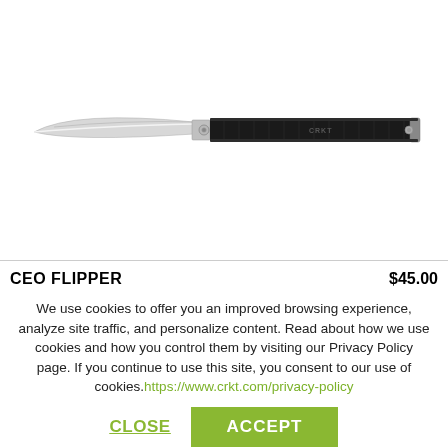[Figure (photo): A CRKT CEO Flipper folding knife with a slim silver blade and black G10 handle, shown open and flat against a white background.]
CEO FLIPPER
$45.00
We use cookies to offer you an improved browsing experience, analyze site traffic, and personalize content. Read about how we use cookies and how you control them by visiting our Privacy Policy page. If you continue to use this site, you consent to our use of cookies. https://www.crkt.com/privacy-policy
CLOSE
ACCEPT